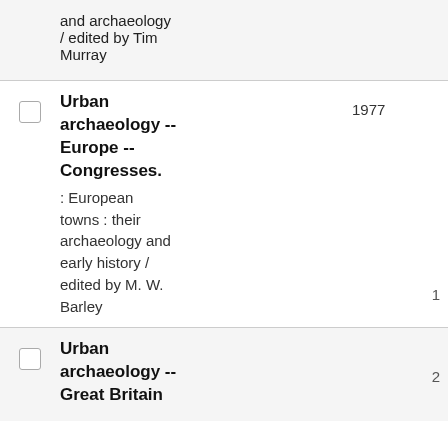and archaeology / edited by Tim Murray
Urban archaeology -- Europe -- Congresses. : European towns : their archaeology and early history / edited by M. W. Barley | 1977 | 1
Urban archaeology -- Great Britain | 2